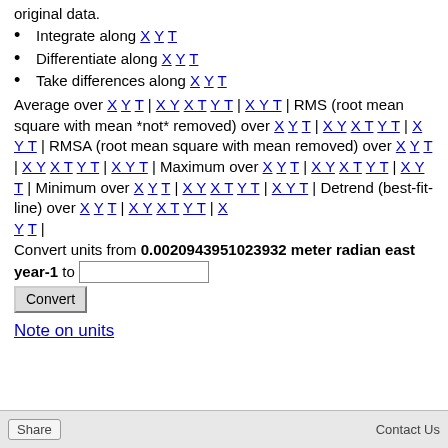original data.
Integrate along X Y T
Differentiate along X Y T
Take differences along X Y T
Average over X Y T | X Y X T Y T | X Y T | RMS (root mean square with mean *not* removed) over X Y T | X Y X T Y T | X Y T | RMSA (root mean square with mean removed) over X Y T | X Y X T Y T | X Y T | Maximum over X Y T | X Y X T Y T | X Y T | Minimum over X Y T | X Y X T Y T | X Y T | Detrend (best-fit-line) over X Y T | X Y X T Y T | X Y T | Convert units from 0.0020943951023932 meter radian east year-1 to [input] Convert
Note on units
Share | Contact Us